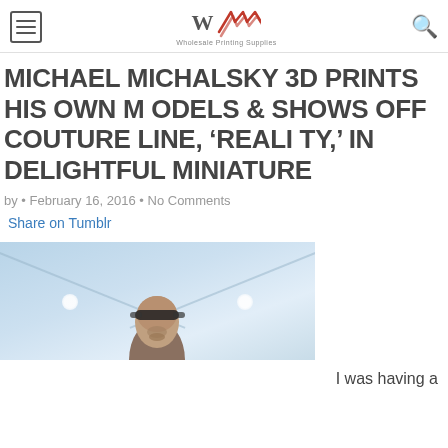Wholesale Printing Supplies
MICHAEL MICHALSKY 3D PRINTS HIS OWN MODELS & SHOWS OFF COUTURE LINE, 'REALITY,' IN DELIGHTFUL MINIATURE
by • February 16, 2016 • No Comments
Share on Tumblr
[Figure (photo): A person wearing sunglasses looking upward, photographed from below against a light blue ceiling with ceiling lights and diagonal lines.]
I was having a